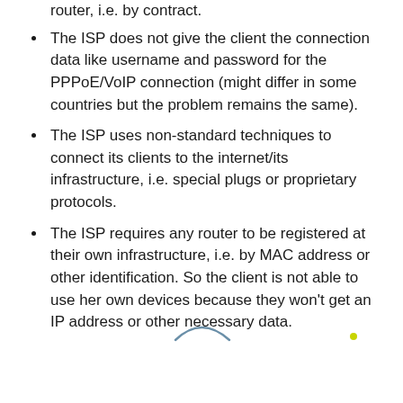router, i.e. by contract.
The ISP does not give the client the connection data like username and password for the PPPoE/VoIP connection (might differ in some countries but the problem remains the same).
The ISP uses non-standard techniques to connect its clients to the internet/its infrastructure, i.e. special plugs or proprietary protocols.
The ISP requires any router to be registered at their own infrastructure, i.e. by MAC address or other identification. So the client is not able to use her own devices because they won't get an IP address or other necessary data.
[Figure (other): Decorative arc/loading spinner element in blue-gray and a small yellow-green dot]